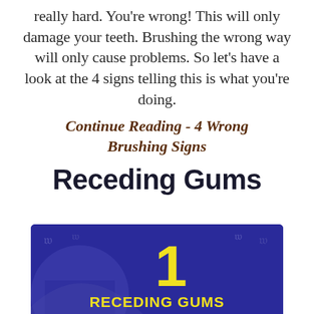really hard. You're wrong! This will only damage your teeth. Brushing the wrong way will only cause problems. So let's have a look at the 4 signs telling this is what you're doing.
Continue Reading - 4 Wrong Brushing Signs
Receding Gums
[Figure (infographic): Dark blue infographic box showing number 1 in yellow and text 'RECEDING GUMS' in yellow bold, with tooth outline silhouettes in the background.]